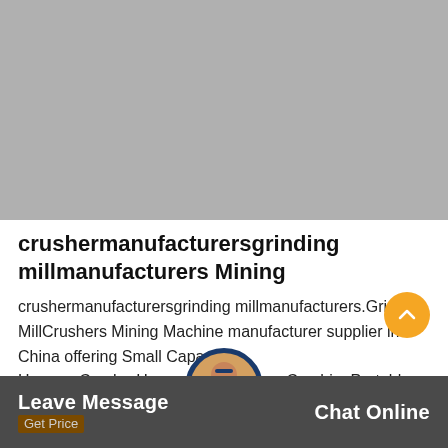[Figure (photo): Gray placeholder image area at top of page]
crushermanufacturersgrinding millmanufacturers Mining
crushermanufacturersgrinding millmanufacturers.Grinding MillCrushers Mining Machine manufacturer supplier in China offering Small Capacity HammerCrusherHammerMillfor StoneCrushingPortable JawCr...with Diesel...
[Figure (photo): Customer service avatar circle at bottom center]
Leave Message   Get Price   Chat Online